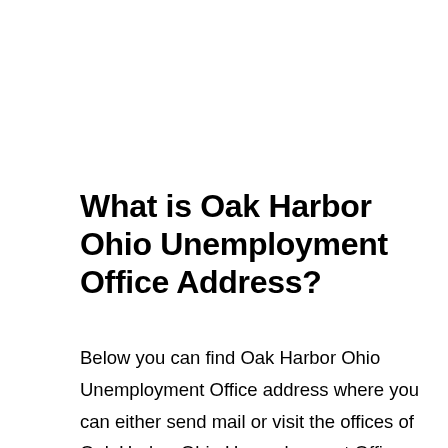What is Oak Harbor Ohio Unemployment Office Address?
Below you can find Oak Harbor Ohio Unemployment Office address where you can either send mail or visit the offices of Oak Harbor Ohio Unemployment Office: